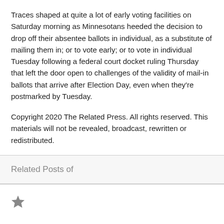Traces shaped at quite a lot of early voting facilities on Saturday morning as Minnesotans heeded the decision to drop off their absentee ballots in individual, as a substitute of mailing them in; or to vote early; or to vote in individual Tuesday following a federal court docket ruling Thursday that left the door open to challenges of the validity of mail-in ballots that arrive after Election Day, even when they're postmarked by Tuesday.
Copyright 2020 The Related Press. All rights reserved. This materials will not be revealed, broadcast, rewritten or redistributed.
Related Posts of
[Figure (other): A star icon (filled black/grey star symbol)]